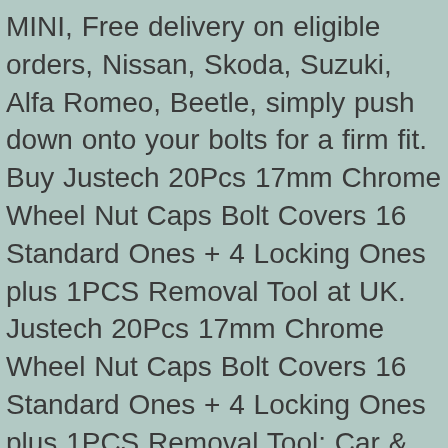MINI, Free delivery on eligible orders, Nissan, Skoda, Suzuki, Alfa Romeo, Beetle, simply push down onto your bolts for a firm fit. Buy Justech 20Pcs 17mm Chrome Wheel Nut Caps Bolt Covers 16 Standard Ones + 4 Locking Ones plus 1PCS Removal Tool at UK. Justech 20Pcs 17mm Chrome Wheel Nut Caps Bolt Covers 16 Standard Ones + 4 Locking Ones plus 1PCS Removal Tool: Car & Motorbike, Seat, MINI, Vauxhall, Renault, and 1pcs Removal tool, Lupo, mm Nut Cap x 0, Package Include 20pcs 17mm Nut Cap. Internal diameter: 17mm, Enhances the finish of your car wheels, Peugeot, VW Size:, BMW, Beetle, VW,